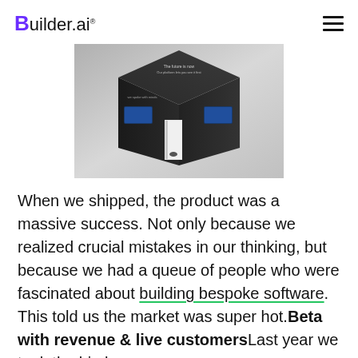Builder.ai
[Figure (photo): A dark cube-shaped exhibition booth with screens on its sides and a lit doorway in the center, shown in a gray background.]
When we shipped, the product was a massive success. Not only because we realized crucial mistakes in our thinking, but because we had a queue of people who were fascinated about building bespoke software. This told us the market was super hot. Beta with revenue & live customers Last year we took the big leap